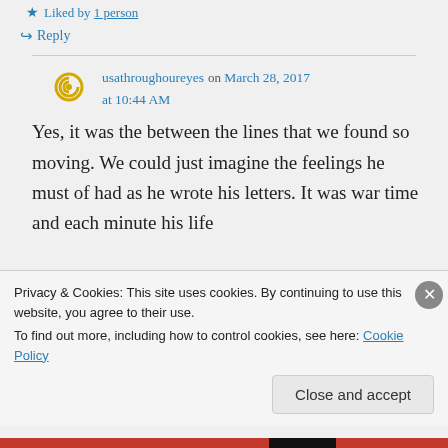Liked by 1 person
Reply
usathroughoureyes on March 28, 2017 at 10:44 AM
Yes, it was the between the lines that we found so moving. We could just imagine the feelings he must of had as he wrote his letters. It was war time and each minute his life
Privacy & Cookies: This site uses cookies. By continuing to use this website, you agree to their use.
To find out more, including how to control cookies, see here: Cookie Policy